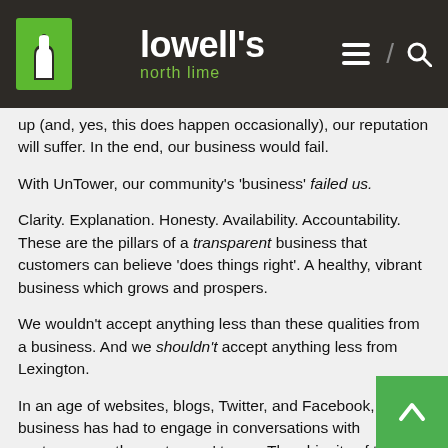lowell's north lime
up (and, yes, this does happen occasionally), our reputation will suffer.  In the end, our business would fail.
With UnTower, our community's 'business' failed us.
Clarity.  Explanation.  Honesty.  Availability.  Accountability.  These are the pillars of a transparent business that customers can believe 'does things right'.  A healthy, vibrant business which grows and prospers.
We wouldn't accept anything less than these qualities from a business.  And we shouldn't accept anything less from Lexington.
In an age of websites, blogs, Twitter, and Facebook, every business has had to engage in conversations with customers on the customers' terms.  The ubiquity of the internet means that these tools are available to nearly everyone, nearly everywhere.  The latency of the internet means that the conversations don't have to happen at the same time – they can build over time.  The internet's